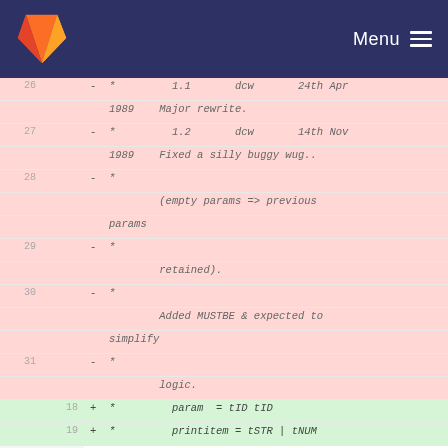[Figure (screenshot): GitLab navigation bar with logo and Menu button]
| old line | new line | diff content |
| --- | --- | --- |
| 26 |  | -  *         1.1       dcw       24th Apr 1989    Major rewrite. |
| 27 |  | -  *         1.2       dcw       14th Nov 1989    Fixed a silly buggy wug.. |
| 28 |  | -  *         (empty params => previous params |
| 29 |  | -  *         retained). |
| 30 |  | -  *         Added MUSTBE & expected to simplify |
| 31 |  | -  *         logic. |
|  | 18 | +  *         param  = tID tID |
|  | 19 | +  *         printitem = tSTR | tNUM |
| 32 | 20 |     */ |
| 33 | 21 |  |
| 34 | 22 |  |
| ... | ... | @@ -41,15 +29,19 @@ |
| 41 | 29 | #if d HASPROTOC |